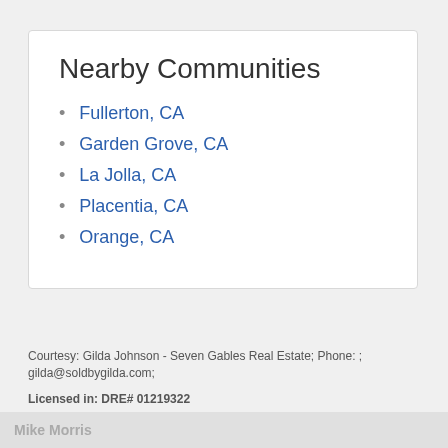Nearby Communities
Fullerton, CA
Garden Grove, CA
La Jolla, CA
Placentia, CA
Orange, CA
Courtesy: Gilda Johnson - Seven Gables Real Estate; Phone: ; gilda@soldbygilda.com;
Licensed in: DRE# 01219322
The information being provided by California Regional Multiple Listing Service, Inc. ("CRMLS") is for your personal, non-commercial use and may not be used for any purpose other than to identify prospective properties you may be interested in purchasing. Any information relating to a property referenced on this web site comes from CRMLS. This web site may reference real estate listing(s) held by a brokerage firm other than the broker and/or agent who owns this website. The accuracy of all
Mike Morris